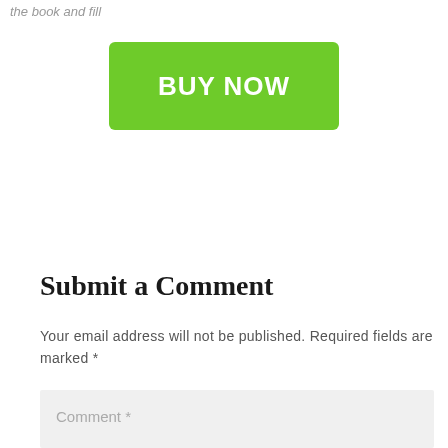the book and fill
[Figure (other): A green 'BUY NOW' button]
Submit a Comment
Your email address will not be published. Required fields are marked *
Comment *